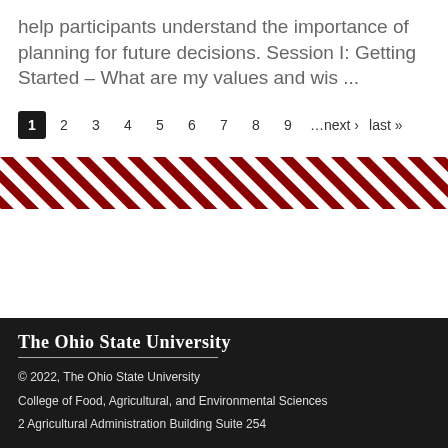help participants understand the importance of planning for future decisions. Session I: Getting Started – What are my values and wis ...
1 2 3 4 5 6 7 8 9 …next › last »
[Figure (illustration): Diagonal red and white striped decorative banner]
The Ohio State University
© 2022, The Ohio State University
College of Food, Agricultural, and Environmental Sciences
2 Agricultural Administration Building Suite 254